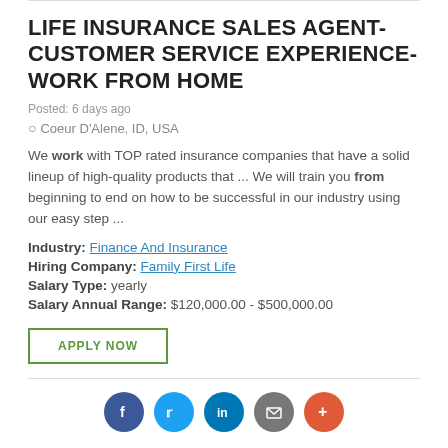LIFE INSURANCE SALES AGENT-CUSTOMER SERVICE EXPERIENCE- WORK FROM HOME
Posted: 6 days ago
Coeur D'Alene, ID, USA
We work with TOP rated insurance companies that have a solid lineup of high-quality products that ... We will train you from beginning to end on how to be successful in our industry using our easy step ...
Industry: Finance And Insurance
Hiring Company: Family First Life
Salary Type: yearly
Salary Annual Range: $120,000.00 - $500,000.00